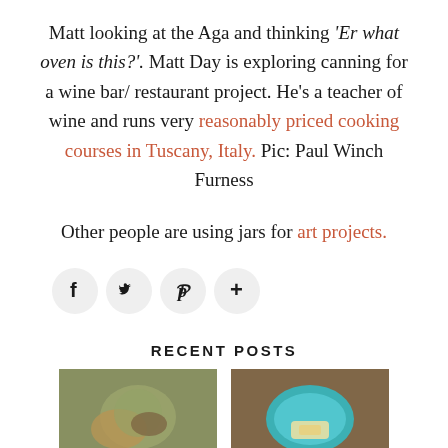Matt looking at the Aga and thinking 'Er what oven is this?'. Matt Day is exploring canning for a wine bar/ restaurant project. He's a teacher of wine and runs very reasonably priced cooking courses in Tuscany, Italy. Pic: Paul Winch Furness
Other people are using jars for art projects.
[Figure (infographic): Social media share icons: Facebook (f), Twitter (bird), Pinterest (P), Google+ (+) — circular light grey buttons]
RECENT POSTS
[Figure (photo): Thumbnail photo of a food dish, green salad or bowl with food on a brown background]
[Figure (photo): Thumbnail photo of food on a teal/turquoise plate on a wooden surface]